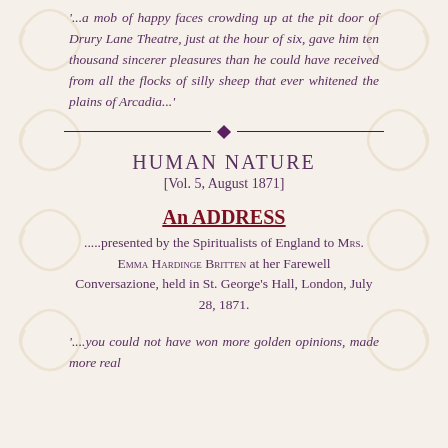'...a mob of happy faces crowding up at the pit door of Drury Lane Theatre, just at the hour of six, gave him ten thousand sincerer pleasures than he could have received from all the flocks of silly sheep that ever whitened the plains of Arcadia...'
[Figure (other): Decorative horizontal divider with a diamond shape in the center and lines extending to each side]
HUMAN NATURE
[Vol. 5, August 1871]
An ADDRESS
.....presented by the Spiritualists of England to Mrs. Emma Hardinge Britten at her Farewell Conversazione, held in St. George's Hall, London, July 28, 1871.
'....you could not have won more golden opinions, made more real